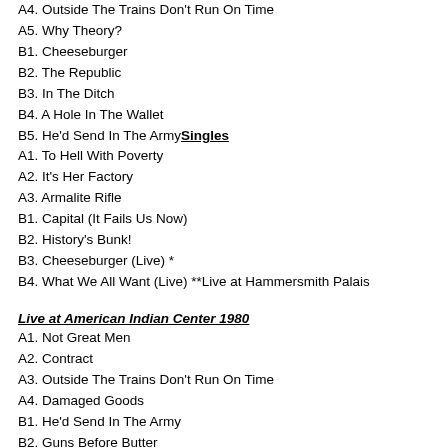A4. Outside The Trains Don't Run On Time
A5. Why Theory?
B1. Cheeseburger
B2. The Republic
B3. In The Ditch
B4. A Hole In The Wallet
B5. He'd Send In The Army Singles
A1. To Hell With Poverty
A2. It's Her Factory
A3. Armalite Rifle
B1. Capital (It Fails Us Now)
B2. History's Bunk!
B3. Cheeseburger (Live) *
B4. What We All Want (Live) **Live at Hammersmith Palais
Live at American Indian Center 1980
A1. Not Great Men
A2. Contract
A3. Outside The Trains Don't Run On Time
A4. Damaged Goods
B1. He'd Send In The Army
B2. Guns Before Butter
B3. 5.45